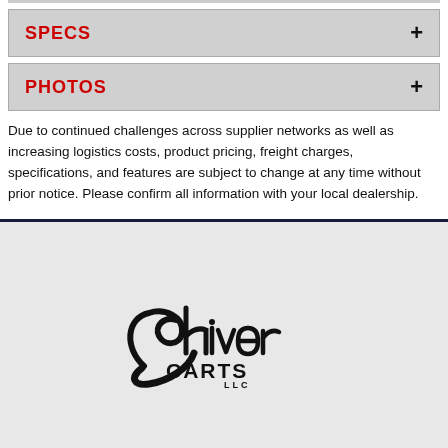SPECS +
PHOTOS +
Due to continued challenges across supplier networks as well as increasing logistics costs, product pricing, freight charges, specifications, and features are subject to change at any time without prior notice. Please confirm all information with your local dealership.
[Figure (logo): Shiver Carts LLC logo in stylized script and bold block letters]